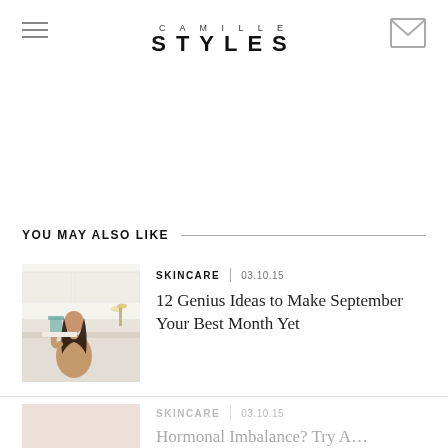CAMILLE STYLES
YOU MAY ALSO LIKE
[Figure (photo): Woman with dark hair sitting at a kitchen counter writing, wearing a tan/orange outfit, modern white kitchen background]
SKINCARE | 03.10.15
12 Genius Ideas to Make September Your Best Month Yet
SKINCARE | 03.10.15
Hormonal Imbalance? Try A…